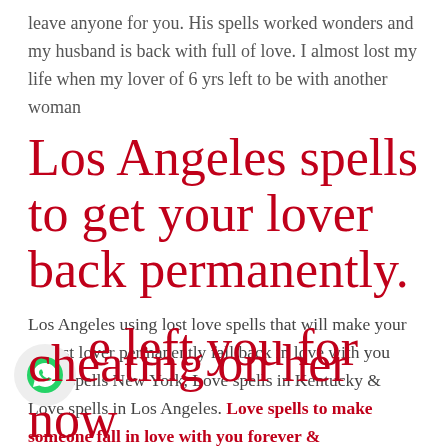leave anyone for you. His spells worked wonders and my husband is back with full of love. I almost lost my life when my lover of 6 yrs left to be with another woman
Los Angeles spells to get your lover back permanently.
Los Angeles using lost love spells that will make your ex lost lover permanently fall back in love with you Love spells New York, Love spells in Kentucky & Love spells in Los Angeles. Love spells to make someone fall in love with you forever & permanently. Los Angeles spells muthi to make your ex love you again
e left you for cheating on her now